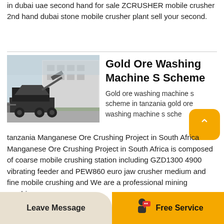in dubai uae second hand for sale ZCRUSHER mobile crusher 2nd hand dubai stone mobile crusher plant sell your second.
[Figure (photo): A heavy-duty mobile crusher/screener machine parked in an industrial area in front of a large building.]
Gold Ore Washing Machine S Scheme
Gold ore washing machine s scheme in tanzania gold ore washing machine s scheme tanzania Manganese Ore Crushing Project in South Africa Manganese Ore Crushing Project in South Africa is composed of coarse mobile crushing station including GZD1300 4900 vibrating feeder and PEW860 euro jaw crusher medium and fine mobile crushing and We are a professional mining machinery.
Leave Message   Free Service